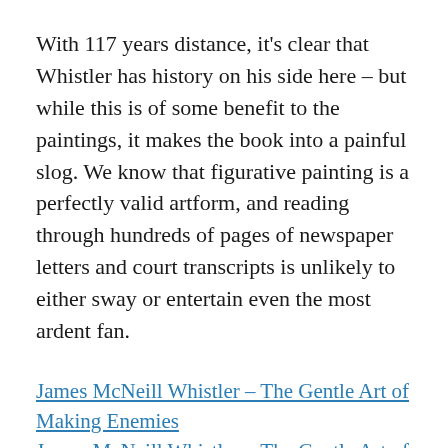With 117 years distance, it's clear that Whistler has history on his side here – but while this is of some benefit to the paintings, it makes the book into a painful slog. We know that figurative painting is a perfectly valid artform, and reading through hundreds of pages of newspaper letters and court transcripts is unlikely to either sway or entertain even the most ardent fan.
James McNeill Whistler – The Gentle Art of Making Enemies
James McNeill Whistler – The Gentle Art of Making Enemies (full text at Project Gutenberg)